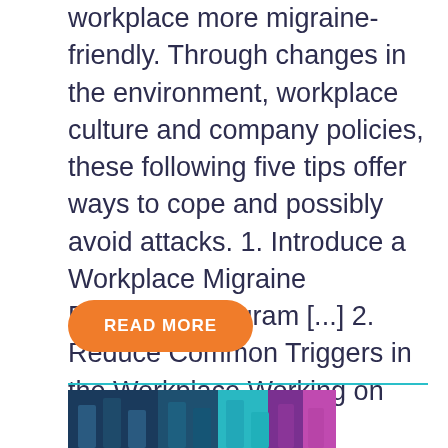workplace more migraine-friendly. Through changes in the environment, workplace culture and company policies, these following five tips offer ways to cope and possibly avoid attacks. 1. Introduce a Workplace Migraine Education Program [...] 2. Reduce Common Triggers in the Workplace Working on the factory…
READ MORE
[Figure (photo): Partial view of an image at the bottom of the page with dark blue, teal, and purple tones, appears to be a photo related to workplace or medical content]